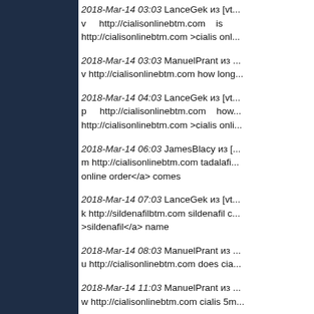2018-Mar-14 03:03 LanceGek из [vt... v http://cialisonlinebtm.com is http://cialisonlinebtm.com >cialis onl...
2018-Mar-14 03:03 ManuelPrant из ... v http://cialisonlinebtm.com how long...
2018-Mar-14 04:03 LanceGek из [vt... p http://cialisonlinebtm.com how... http://cialisonlinebtm.com >cialis onli...
2018-Mar-14 06:03 JamesBlacy из [... m http://cialisonlinebtm.com tadalafi... online order</a> comes
2018-Mar-14 07:03 LanceGek из [vt... k http://sildenafilbtm.com sildenafil c... >sildenafil</a> name
2018-Mar-14 08:03 ManuelPrant из ... u http://cialisonlinebtm.com does cia...
2018-Mar-14 11:03 ManuelPrant из ... w http://cialisonlinebtm.com cialis 5m...
2018-Mar-14 11:03 ManuelPrant из ...